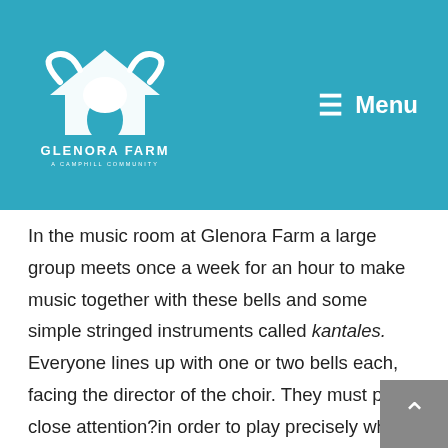[Figure (logo): Glenora Farm - A Camphill Community logo with white barn/house shape on teal background]
≡ Menu
In the music room at Glenora Farm a large group meets once a week for an hour to make music together with these bells and some simple stringed instruments called kantales. Everyone lines up with one or two bells each, facing the director of the choir. They must pay close attention?in order to play precisely when given the cue. The emphasis is on PRECISELY! Music happens in beat and rhythm, and if someone misses their cue and makes a delayed entry, it will throw everyone else off. The magic will be broken, the music must stop and the